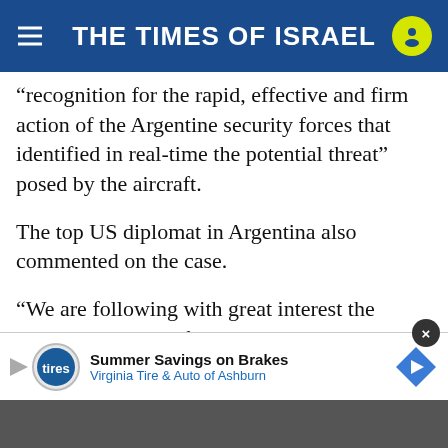THE TIMES OF ISRAEL
“recognition for the rapid, effective and firm action of the Argentine security forces that identified in real-time the potential threat” posed by the aircraft.
The top US diplomat in Argentina also commented on the case.
“We are following with great interest the judicial and law enforcement investigations into the crew and the plane and thank the investigative efforts of Argentine authorities to clear up the situation,” US Ambassador Marc Stanley said in a statement shared with local media.
[Figure (other): Advertisement banner: Summer Savings on Brakes, Virginia Tire & Auto of Ashburn]